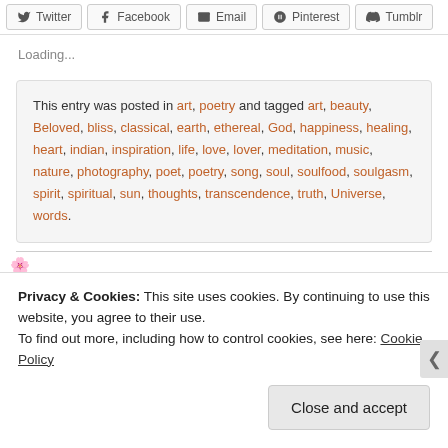Twitter | Facebook | Email | Pinterest | Tumblr
Loading...
This entry was posted in art, poetry and tagged art, beauty, Beloved, bliss, classical, earth, ethereal, God, happiness, healing, heart, indian, inspiration, life, love, lover, meditation, music, nature, photography, poet, poetry, song, soul, soulfood, soulgasm, spirit, spiritual, sun, thoughts, transcendence, truth, Universe, words.
Privacy & Cookies: This site uses cookies. By continuing to use this website, you agree to their use. To find out more, including how to control cookies, see here: Cookie Policy
Close and accept